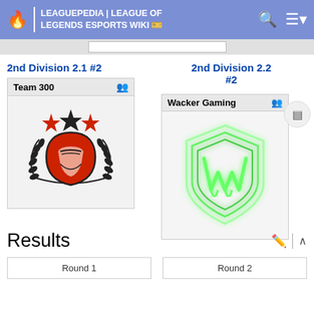LEAGUEPEDIA | LEAGUE OF LEGENDS ESPORTS WIKI
2nd Division 2.1 #2
Team 300
[Figure (logo): Team 300 logo: red spartan helmet with black laurel wreath and three stars (two red, one black)]
2nd Division 2.2 #2
Wacker Gaming
[Figure (logo): Wacker Gaming logo: green glowing W-shaped shield emblem on white background]
Results
Round 1
Round 2